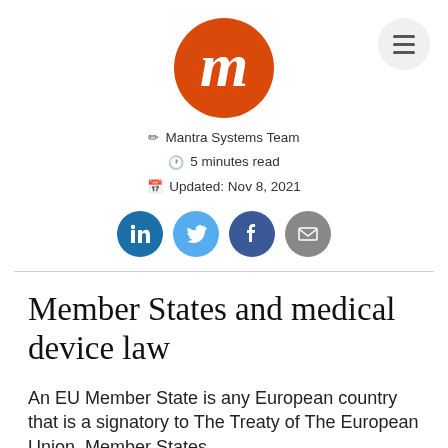[Figure (logo): Mantra Systems orange circular logo with white stylized M]
✏ Mantra Systems Team
🕐 5 minutes read
📅 Updated: Nov 8, 2021
[Figure (infographic): Social media share buttons: LinkedIn (dark blue), Twitter (light blue), Facebook (dark blue/navy), Email (grey)]
Member States and medical device law
An EU Member State is any European country that is a signatory to The Treaty of The European Union. Member States